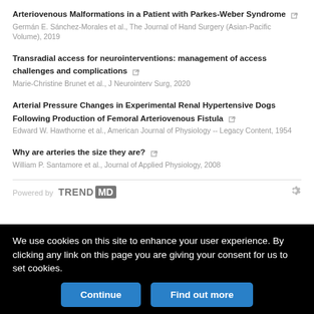Arteriovenous Malformations in a Patient with Parkes-Weber Syndrome
Transradial access for neurointerventions: management of access challenges and complications
Arterial Pressure Changes in Experimental Renal Hypertensive Dogs Following Production of Femoral Arteriovenous Fistula
Why are arteries the size they are?
Powered by TREND MD
We use cookies on this site to enhance your user experience. By clicking any link on this page you are giving your consent for us to set cookies.